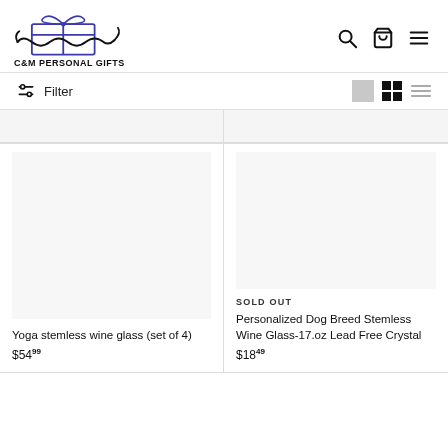C&M PERSONAL GIFTS
Filter
Yoga stemless wine glass (set of 4) $54.99
SOLD OUT
Personalized Dog Breed Stemless Wine Glass-17.oz Lead Free Crystal
$18.49